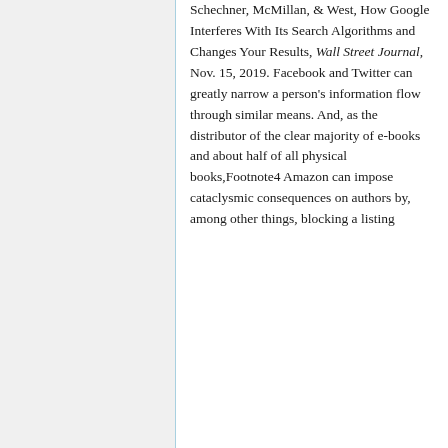Schechner, McMillan, & West, How Google Interferes With Its Search Algorithms and Changes Your Results, Wall Street Journal, Nov. 15, 2019. Facebook and Twitter can greatly narrow a person's information flow through similar means. And, as the distributor of the clear majority of e-books and about half of all physical books,Footnote4 Amazon can impose cataclysmic consequences on authors by, among other things, blocking a listing